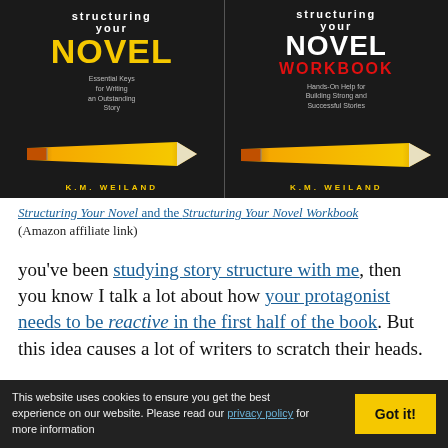[Figure (illustration): Two book covers side by side: 'Structuring Your Novel' (left, with yellow NOVEL text and pencil) and 'Structuring Your Novel Workbook' (right, with white NOVEL and red WORKBOOK text and pencil), both by K.M. Weiland, dark background]
Structuring Your Novel and the Structuring Your Novel Workbook (Amazon affiliate link)
you've been studying story structure with me, then you know I talk a lot about how your protagonist needs to be reactive in the first half of the book. But this idea causes a lot of writers to scratch their heads.
This website uses cookies to ensure you get the best experience on our website. Please read our privacy policy for more information